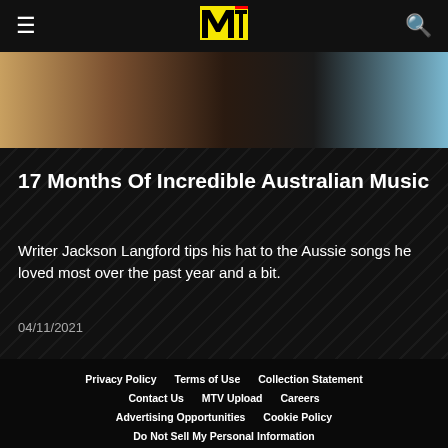MTV
[Figure (photo): Partial view of a person with dark hair against a gradient background]
17 Months Of Incredible Australian Music
Writer Jackson Langford tips his hat to the Aussie songs he loved most over the past year and a bit.
04/11/2021
Load More
Privacy Policy   Terms of Use   Collection Statement   Contact Us   MTV Upload   Careers   Advertising Opportunities   Cookie Policy   Do Not Sell My Personal Information